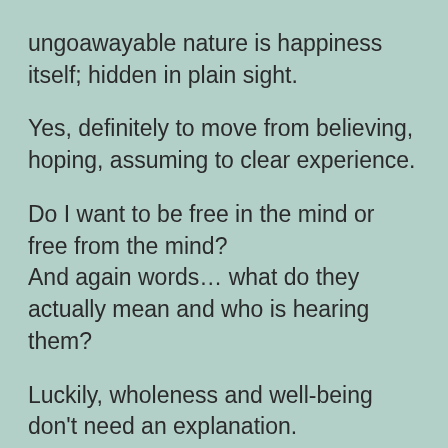ungoawayable nature is happiness itself; hidden in plain sight.
Yes, definitely to move from believing, hoping, assuming to clear experience.
Do I want to be free in the mind or free from the mind?
And again words… what do they actually mean and who is hearing them?
Luckily, wholeness and well-being don't need an explanation.
What seems to be missing?